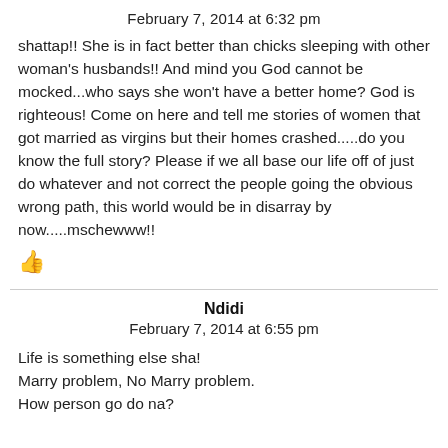February 7, 2014 at 6:32 pm
shattap!! She is in fact better than chicks sleeping with other woman's husbands!! And mind you God cannot be mocked...who says she won't have a better home? God is righteous! Come on here and tell me stories of women that got married as virgins but their homes crashed.....do you know the full story? Please if we all base our life off of just do whatever and not correct the people going the obvious wrong path, this world would be in disarray by now.....mschewww!!
👍
Ndidi
February 7, 2014 at 6:55 pm
Life is something else sha!
Marry problem, No Marry problem.
How person go do na?